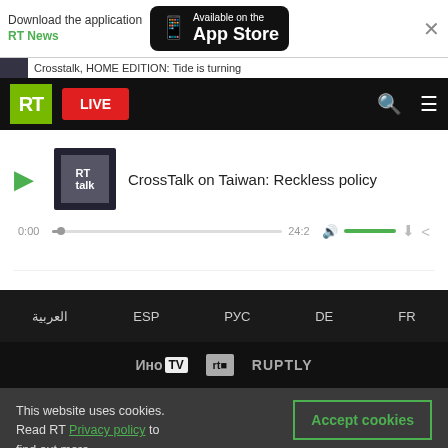[Figure (screenshot): App Store download banner with RT News branding, RT website navigation bar with LIVE button, audio player for CrossTalk on Taiwan: Reckless policy, footer navigation with language links (العربية, ESP, РУС, DE, FR), logo row with ИноТВ, RT Doc, and RUPTLY, and cookie consent banner]
Download the application RT News
Available on the App Store
Crosstalk, HOME EDITION: Tide is turning
LIVE
CrossTalk on Taiwan: Reckless policy
0:00
24:2
العربية
ESP
РУС
DE
FR
ИноTV
RUPTLY
This website uses cookies. Read RT Privacy policy to find out more.
Accept cookies